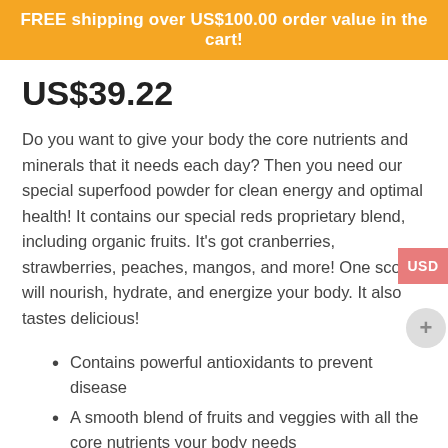FREE shipping over US$100.00 order value in the cart!
US$39.22
Do you want to give your body the core nutrients and minerals that it needs each day? Then you need our special superfood powder for clean energy and optimal health! It contains our special reds proprietary blend, including organic fruits. It's got cranberries, strawberries, peaches, mangos, and more! One scoop will nourish, hydrate, and energize your body. It also tastes delicious!
Contains powerful antioxidants to prevent disease
A smooth blend of fruits and veggies with all the core nutrients your body needs
Promotes heart health and weight loss
USDA certified organic and FDA approved
A great way to hydrate and alkalize your body
Availability: In stock